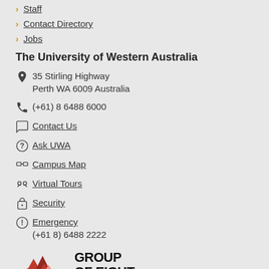Staff
Contact Directory
Jobs
The University of Western Australia
35 Stirling Highway
Perth WA 6009 Australia
(+61) 8 6488 6000
Contact Us
Ask UWA
Campus Map
Virtual Tours
Security
Emergency
(+61 8) 6488 2222
[Figure (logo): Group of Eight university consortium logo with red geometric mountain shapes and bold text]